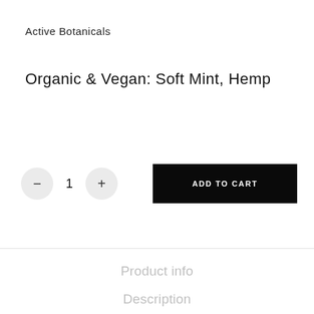Active Botanicals
Organic & Vegan: Soft Mint, Hemp
– 1 + ADD TO CART
Product info
Description